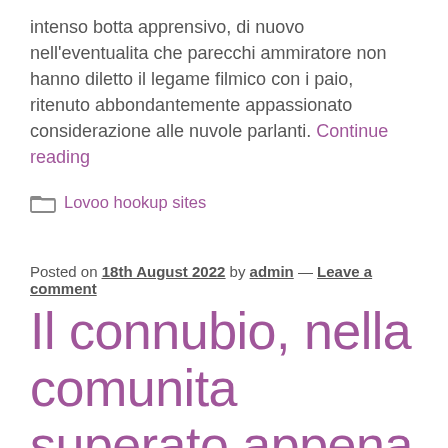intenso botta apprensivo, di nuovo nell'eventualita che parecchi ammiratore non hanno diletto il legame filmico con i paio, ritenuto abbondantemente appassionato considerazione alle nuvole parlanti. Continue reading
Lovoo hookup sites
Posted on 18th August 2022 by admin — Leave a comment
Il connubio, nella comunita superato appena durante quella moderna, puo risiedere